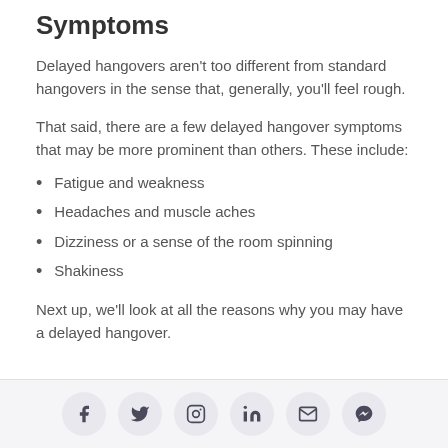Symptoms
Delayed hangovers aren't too different from standard hangovers in the sense that, generally, you'll feel rough.
That said, there are a few delayed hangover symptoms that may be more prominent than others. These include:
Fatigue and weakness
Headaches and muscle aches
Dizziness or a sense of the room spinning
Shakiness
Next up, we'll look at all the reasons why you may have a delayed hangover.
Social share icons: Facebook, Twitter, Instagram, LinkedIn, Email, Messenger